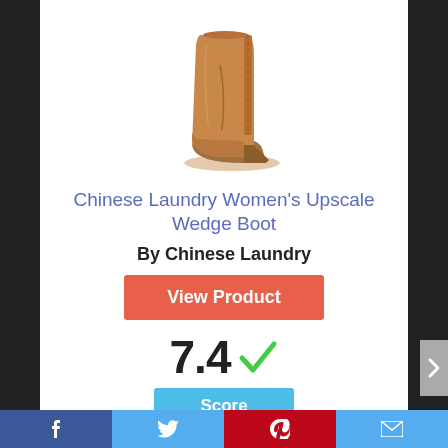[Figure (photo): Brown suede wedge ankle boot (Chinese Laundry Upscale Wedge Boot) on white background]
Chinese Laundry Women’s Upscale Wedge Boot
By Chinese Laundry
View Product
7.4 ✓
Score
Facebook | Twitter | Pinterest | Email